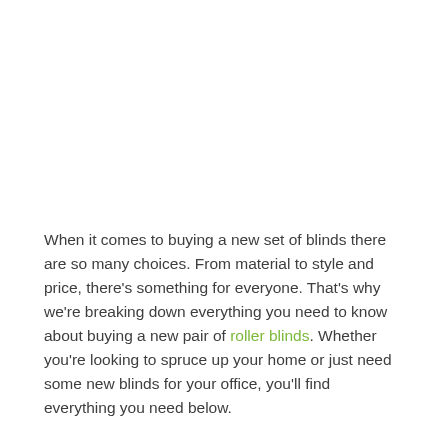When it comes to buying a new set of blinds there are so many choices. From material to style and price, there's something for everyone. That's why we're breaking down everything you need to know about buying a new pair of roller blinds. Whether you're looking to spruce up your home or just need some new blinds for your office, you'll find everything you need below.